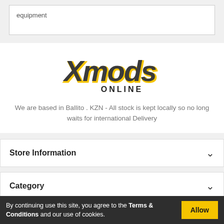equipment
[Figure (logo): Xmods Online logo — stylized yellow and dark grey graffiti-style text 'Xmods' with 'ONLINE' in bold dark letters below]
We are based in Ballito . KZN - All stock is kept locally so no long waits for international Delivery
Store Information
Category
Our Company
By continuing use this site, you agree to the Terms & Conditions and our use of cookies.